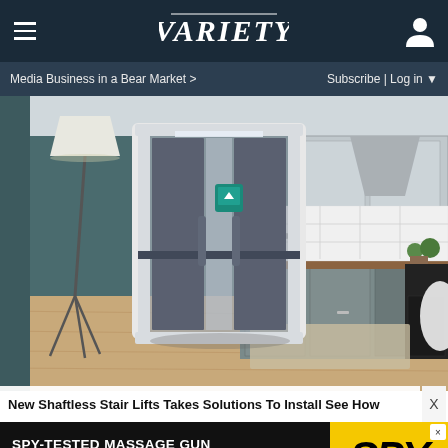VARIETY
Media Business in a Bear Market >
Subscribe | Log in ▼
[Figure (photo): A modern residential home elevator/lift installed in a kitchen area. The lift is a glass and metal framed unit with a small teal control panel inside, positioned on a light wood floor. The background shows a contemporary kitchen with teal/dark gray walls, gray cabinets, butcher block countertop, white subway tile backsplash, and kitchen appliances. A tripod floor lamp is visible on the left.]
New Shaftless Stair Lifts Takes Solutions To Install See How
SPY-TESTED MASSAGE GUN
NOW JUST $79